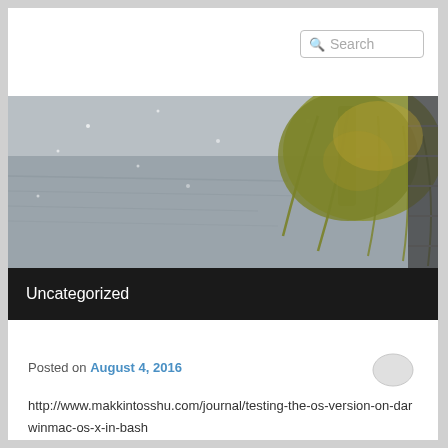[Figure (screenshot): Search box in upper right of webpage header area]
[Figure (photo): A weeping willow tree in snowy/stormy weather near a body of water, with a railing visible on the right side]
Uncategorized
Posted on August 4, 2016
http://www.makkintosshu.com/journal/testing-the-os-version-on-darwinmac-os-x-in-bash